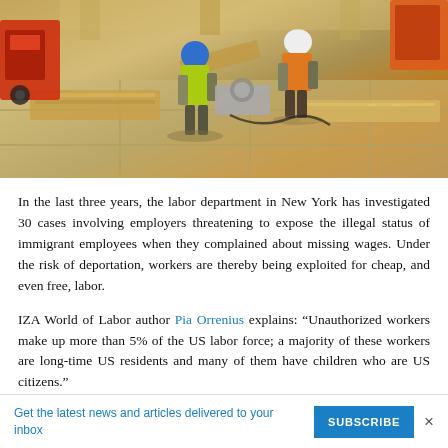[Figure (photo): Aerial view of two construction workers on a job site, one wearing a blue hard hat and yellow vest, the other in an orange vest and white hard hat, working with lumber and construction equipment on a concrete surface.]
In the last three years, the labor department in New York has investigated 30 cases involving employers threatening to expose the illegal status of immigrant employees when they complained about missing wages. Under the risk of deportation, workers are thereby being exploited for cheap, and even free, labor.
IZA World of Labor author Pia Orrenius explains: “Unauthorized workers make up more than 5% of the US labor force; a majority of these workers are long-time US residents and many of them have children who are US citizens.”
Get the latest news and articles delivered to your inbox  [SUBSCRIBE] ×